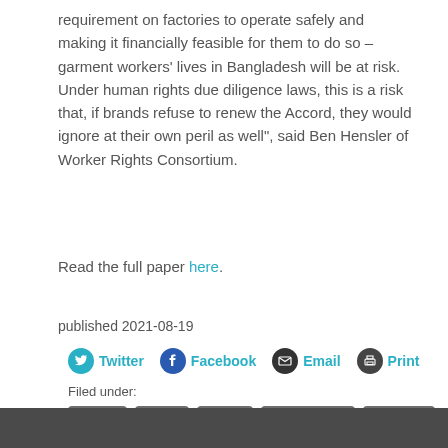requirement on factories to operate safely and making it financially feasible for them to do so – garment workers' lives in Bangladesh will be at risk. Under human rights due diligence laws, this is a risk that, if brands refuse to renew the Accord, they would ignore at their own peril as well”, said Ben Hensler of Worker Rights Consortium.
Read the full paper here.
published 2021-08-19
Twitter  Facebook  Email  Print
Filed under:
Accord
safety
mhrdd
press release
Germany
France
#Bangladesh
Bangladesh